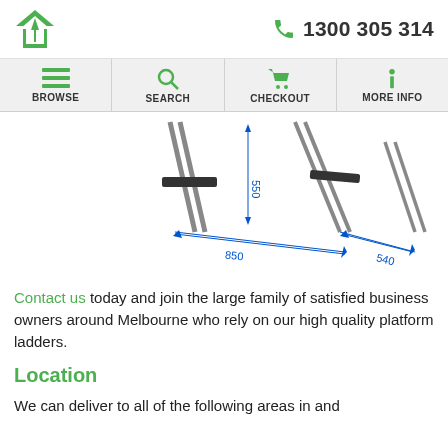1300 305 314
[Figure (engineering-diagram): Technical drawing of a platform ladder showing dimensions: 550mm step height, 850mm base spread, 540mm rear leg spread]
Contact us today and join the large family of satisfied business owners around Melbourne who rely on our high quality platform ladders.
Location
We can deliver to all of the following areas in and